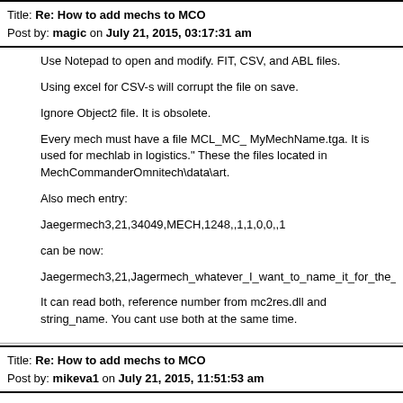Title: Re: How to add mechs to MCO
Post by: magic on July 21, 2015, 03:17:31 am
Use Notepad to open and modify. FIT, CSV, and ABL files.
Using excel for CSV-s will corrupt the file on save.
Ignore Object2 file. It is obsolete.
Every mech must have a file MCL_MC_ MyMechName.tga. It is used for mechlab in logistics." These the files located in MechCommanderOmnitech\data\art.
Also mech entry:
Jaegermech3,21,34049,MECH,1248,,1,1,0,0,,1
can be now:
Jaegermech3,21,Jagermech_whatever_I_want_to_name_it_for_the_edi
It can read both, reference number from mc2res.dll and string_name. You cant use both at the same time.
Title: Re: How to add mechs to MCO
Post by: mikeva1 on July 21, 2015, 11:51:53 am